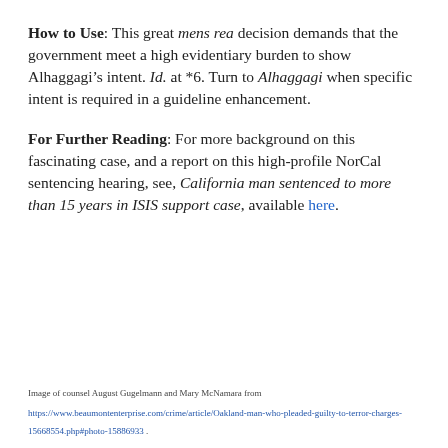How to Use: This great mens rea decision demands that the government meet a high evidentiary burden to show Alhaggagi's intent. Id. at *6. Turn to Alhaggagi when specific intent is required in a guideline enhancement.
For Further Reading: For more background on this fascinating case, and a report on this high-profile NorCal sentencing hearing, see, California man sentenced to more than 15 years in ISIS support case, available here.
Image of counsel August Gugelmann and Mary McNamara from
https://www.beaumontenterprise.com/crime/article/Oakland-man-who-pleaded-guilty-to-terror-charges-15668554.php#photo-15886933 .